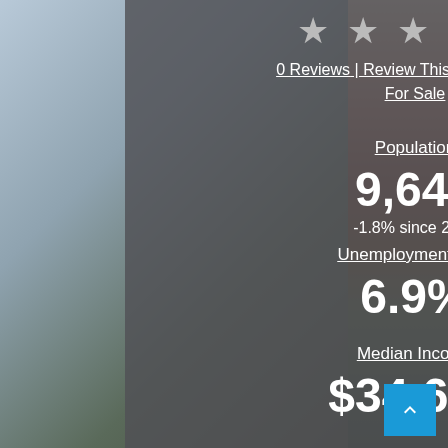[Figure (illustration): Background photo of a coastal or waterfront town scene with a building with red/orange roof on the right, overlaid with a dark semi-transparent panel in the center.]
★ ★ ★ ★ ★
0 Reviews | Review This Place| Homes For Sale
Population
9,647
-1.8% since 2020
Unemployment Rate
6.9%
Median Income
$34,632